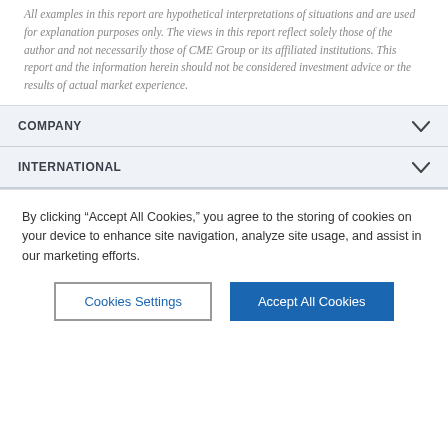All examples in this report are hypothetical interpretations of situations and are used for explanation purposes only. The views in this report reflect solely those of the author and not necessarily those of CME Group or its affiliated institutions. This report and the information herein should not be considered investment advice or the results of actual market experience.
COMPANY
INTERNATIONAL
By clicking “Accept All Cookies,” you agree to the storing of cookies on your device to enhance site navigation, analyze site usage, and assist in our marketing efforts.